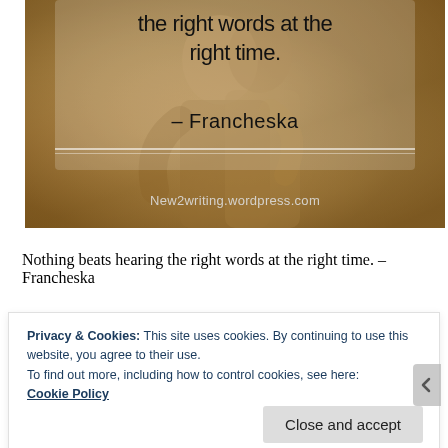[Figure (photo): A couple embracing, photographed from behind, with warm golden/amber tones. Overlaid text reads 'the right words at the right time.' and '– Francheska' with a divider line and the URL New2writing.wordpress.com at the bottom.]
Nothing beats hearing the right words at the right time. – Francheska
Privacy & Cookies: This site uses cookies. By continuing to use this website, you agree to their use.
To find out more, including how to control cookies, see here:
Cookie Policy